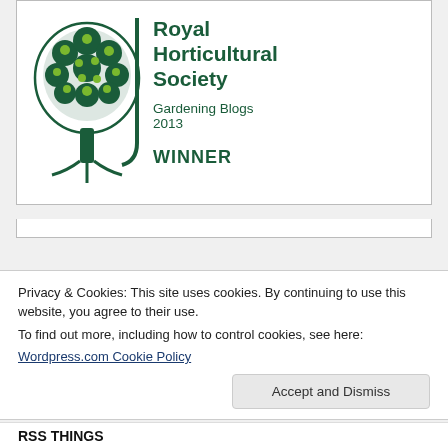[Figure (logo): Royal Horticultural Society logo with tree graphic, text 'Royal Horticultural Society', 'Gardening Blogs 2013', and 'WINNER']
Privacy & Cookies: This site uses cookies. By continuing to use this website, you agree to their use.
To find out more, including how to control cookies, see here:
Wordpress.com Cookie Policy
Accept and Dismiss
RSS THINGS